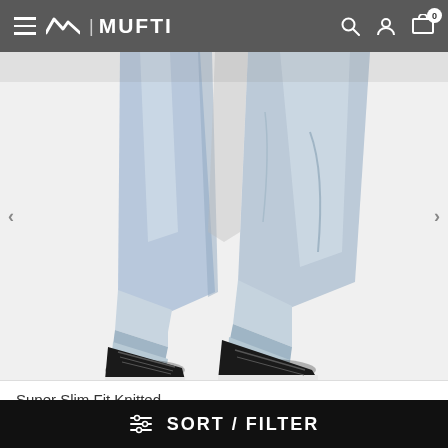MUFTI
[Figure (photo): Lower half of a person wearing light blue slim-fit jeans with cuffed hems and black high-top sneakers with white soles, shot against a white background.]
Super Slim Fit Knitted
Stretch Jeans
1 Colour
SORT / FILTER